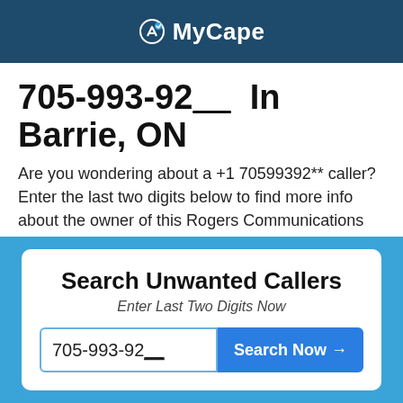MyCape
705-993-92__ In Barrie, ON
Are you wondering about a +1 70599392** caller? Enter the last two digits below to find more info about the owner of this Rogers Communications Canada Inc. number!
Search Unwanted Callers
Enter Last Two Digits Now
705-993-92__  Search Now →